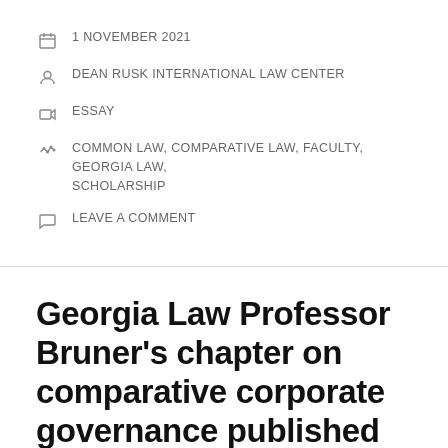1 NOVEMBER 2021
DEAN RUSK INTERNATIONAL LAW CENTER
ESSAY
COMMON LAW, COMPARATIVE LAW, FACULTY, GEORGIA LAW, SCHOLARSHIP
LEAVE A COMMENT
Georgia Law Professor Bruner's chapter on comparative corporate governance published in new Research Handbook